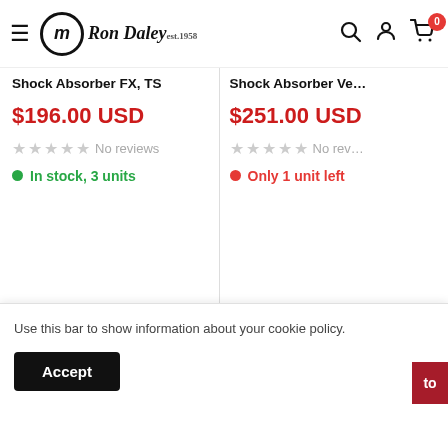Ron Daley (est.1958) — navigation with search, account, and cart icons (0 items)
Shock Absorber FX, TS — $196.00 USD — No reviews — In stock, 3 units
Shock Absorber Ve… — $251.00 USD — No rev… — Only 1 unit left
Use this bar to show information about your cookie policy.
Accept